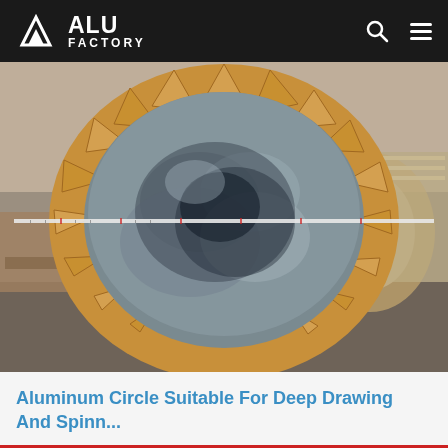ALU FACTORY
[Figure (photo): A large aluminum coil spool wrapped in clear plastic film, shown end-on, with cardboard wedge segments around the circumference. A measuring tape is stretched across the diameter. Multiple similar spools visible in the background warehouse.]
Aluminum Circle Suitable For Deep Drawing And Spinn...
Home   Skype   E-Mail   Inquiry